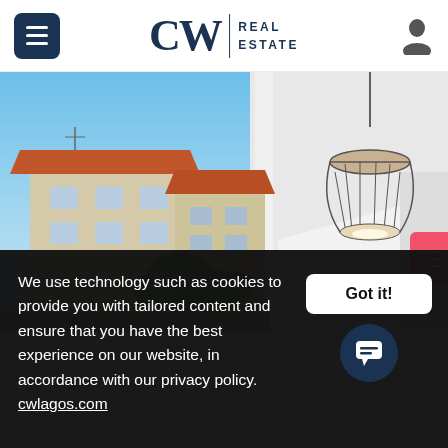CW REAL ESTATE
[Figure (photo): Exterior view of Mediterranean-style residential buildings with orange tiled roofs, shot from a balcony with a decorative pendant lamp hanging overhead and blue sky background.]
We use technology such as cookies to provide you with tailored content and ensure that you have the best experience on our website, in accordance with our privacy policy. cwlagos.com